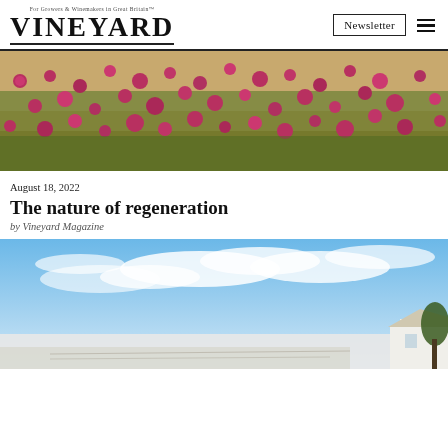VINEYARD — For Growers & Winemakers in Great Britain
[Figure (photo): Wide field of red clover flowers with green stems against sandy soil]
August 18, 2022
The nature of regeneration
by Vineyard Magazine
[Figure (photo): Blue sky with white clouds and partial view of vineyard/countryside with white building visible at right edge]